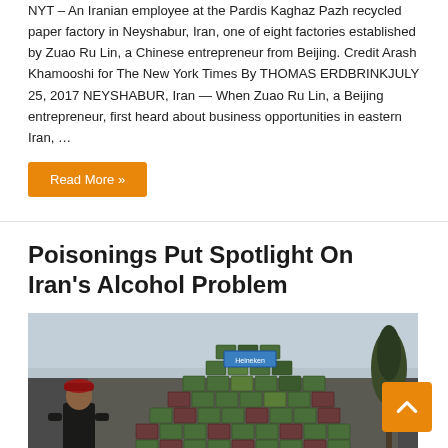NYT – An Iranian employee at the Pardis Kaghaz Pazh recycled paper factory in Neyshabur, Iran, one of eight factories established by Zuao Ru Lin, a Chinese entrepreneur from Beijing. Credit Arash Khamooshi for The New York Times By THOMAS ERDBRINKJULY 25, 2017 NEYSHABUR, Iran — When Zuao Ru Lin, a Beijing entrepreneur, first heard about business opportunities in eastern Iran, …
Read More »
Poisonings Put Spotlight On Iran's Alcohol Problem
[Figure (photo): A soldier or guard wearing a red beret stands in front of a large pyramid-like pile of stacked green and red cases/crates of Heineken beer, with a tree visible on the right side and a light sky in the background.]